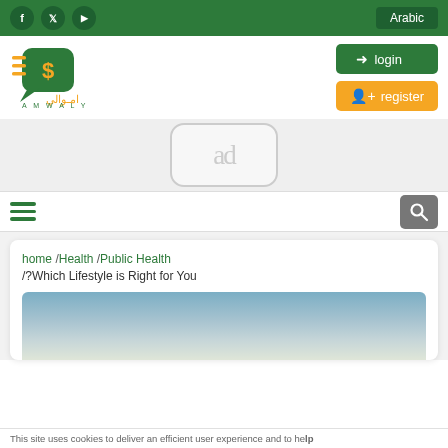Social icons: f, Twitter, YouTube | Arabic
[Figure (logo): Amwaly logo with green speech bubble dollar sign icon and Arabic text امولي with AMWALY text]
→ login
👤+ register
[Figure (other): Ad placeholder box with text 'ad']
≡ (hamburger menu)
[Figure (other): Search icon button]
home /Health /Public Health /Which Lifestyle is Right for You?
[Figure (photo): Sky gradient background photo for article]
This site uses cookies to deliver an efficient user experience and to help